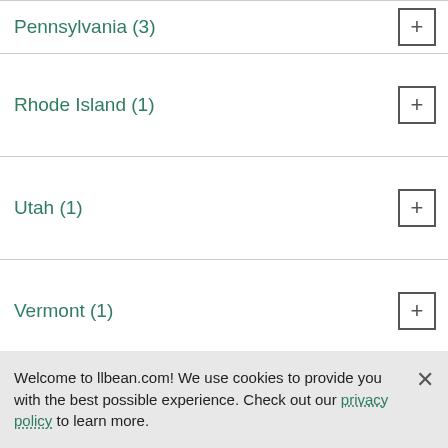Pennsylvania (3)
Rhode Island (1)
Utah (1)
Vermont (1)
Virginia (3)
Wisconsin (2)
Welcome to llbean.com! We use cookies to provide you with the best possible experience. Check out our privacy policy to learn more.